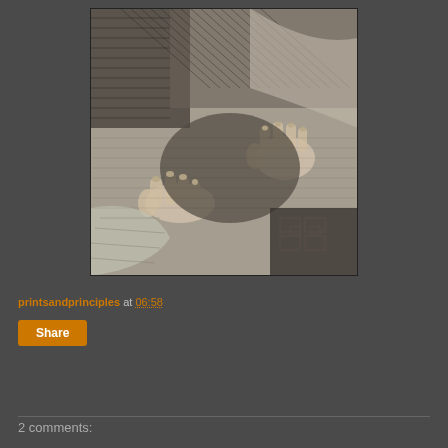[Figure (illustration): Black and white engraving detail showing hands and draped fabric/clothing, appears to be a close-up of a classical engraving with cross-hatching technique]
printsandprinciples at 06:58
Share
2 comments: